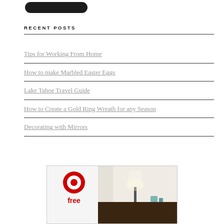[Figure (illustration): Partial view of a dark rounded pill/button shape at the top of the page]
RECENT POSTS
Tips for Working From Home
How to make Marbled Easter Eggs
Lake Tahoe Travel Guide
How to Create a Gold Ring Wreath for any Season
Decorating with Mirrors
[Figure (advertisement): Target advertisement banner showing Target bullseye logo, the word 'free', and a bedroom scene with lamp and nightstand]